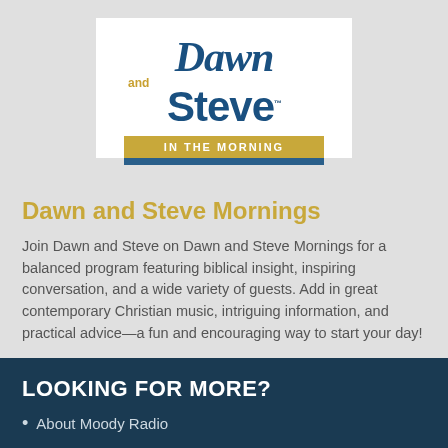[Figure (logo): Dawn and Steve In The Morning logo — script 'Dawn' text above bold 'Steve' with gold 'and', orange banner reading 'IN THE MORNING', blue horizontal bar below]
Dawn and Steve Mornings
Join Dawn and Steve on Dawn and Steve Mornings for a balanced program featuring biblical insight, inspiring conversation, and a wide variety of guests. Add in great contemporary Christian music, intriguing information, and practical advice—a fun and encouraging way to start your day!
LOOKING FOR MORE?
About Moody Radio